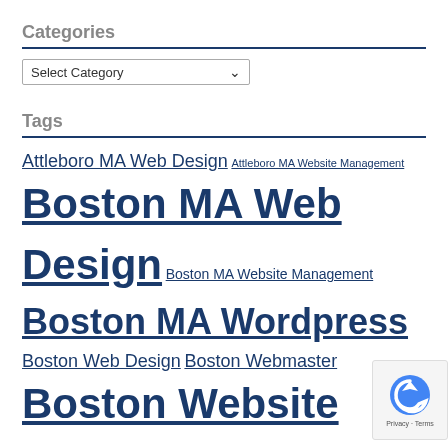Categories
[Figure (other): Select Category dropdown widget]
Tags
Attleboro MA Web Design Attleboro MA Website Management Boston MA Web Design Boston MA Website Management Boston MA Wordpress Boston Web Design Boston Webmaster Boston Website Management Canton MA Web Design Canton MA Website Management Clearwater FL Web Design Dunedin FL Web Design Dunedin FL Wordpress Easton MA Web Design Easton MA Website Management Foxboro MA Web Design Foxboro MA Website Management Franklin MA Web Design Largo Fl Web Design Mansfield MA Web design Medfield MA Web
[Figure (other): reCAPTCHA badge with logo and Privacy/Terms text]